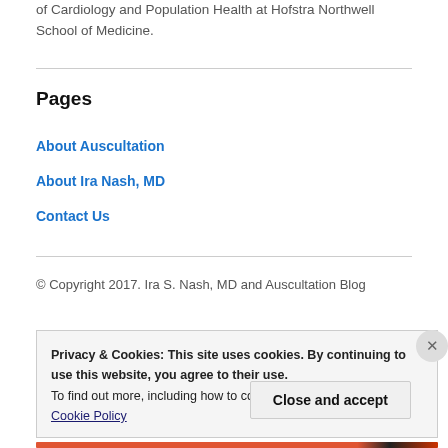of Cardiology and Population Health at Hofstra Northwell School of Medicine.
Pages
About Auscultation
About Ira Nash, MD
Contact Us
© Copyright 2017. Ira S. Nash, MD and Auscultation Blog
Privacy & Cookies: This site uses cookies. By continuing to use this website, you agree to their use.
To find out more, including how to control cookies, see here: Cookie Policy
Close and accept